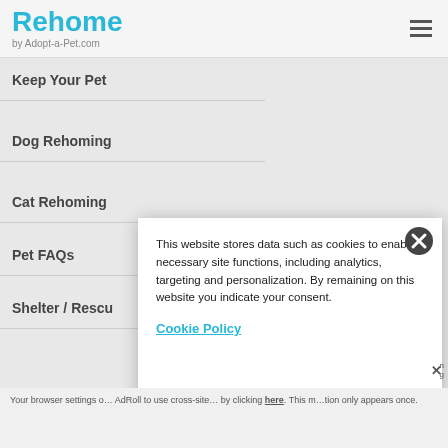Rehome by Adopt-a-Pet.com
Keep Your Pet
Dog Rehoming
Cat Rehoming
Pet FAQs
Shelter / Rescu…
This website stores data such as cookies to enable necessary site functions, including analytics, targeting and personalization. By remaining on this website you indicate your consent.
Cookie Policy
Your browser settings o… AdRoll to use cross-site… by clicking here. This m… g